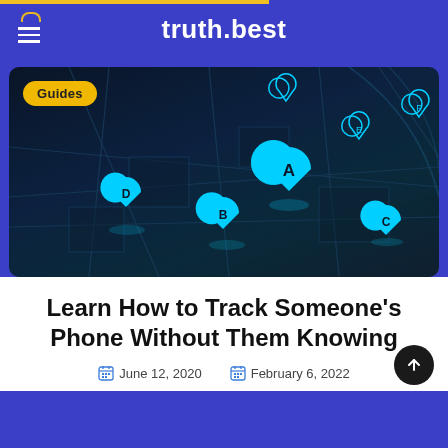truth.best
[Figure (illustration): Dark map with cyan location pins labeled A, B, C, D, E, F on a dark navy background representing GPS tracking. A yellow 'Guides' badge overlays the top-left corner.]
Learn How to Track Someone's Phone Without Them Knowing
June 12, 2020    February 6, 2022